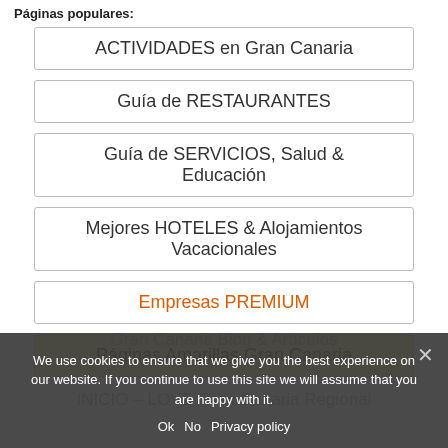Páginas populares:
ACTIVIDADES en Gran Canaria
Guía de RESTAURANTES
Guía de SERVICIOS, Salud & Educación
Mejores HOTELES & Alojamientos Vacacionales
Empresas PREMIUM
Páginas Amarillas Gran Canaria
Gran Canaria Blog & Artículos
INICIO – LOVE Gran Canaria Regional
We use cookies to ensure that we give you the best experience on our website. If you continue to use this site we will assume that you are happy with it.
Ok   No   Privacy policy